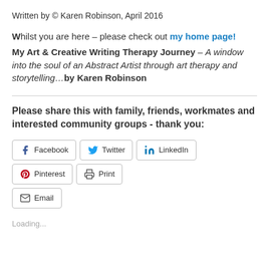Written by © Karen Robinson, April 2016
Whilst you are here – please check out my home page! My Art & Creative Writing Therapy Journey – A window into the soul of an Abstract Artist through art therapy and storytelling…by Karen Robinson
Please share this with family, friends, workmates and interested community groups - thank you:
[Figure (screenshot): Row of social share buttons: Facebook, Twitter, LinkedIn, Pinterest, Print, Email]
Loading...